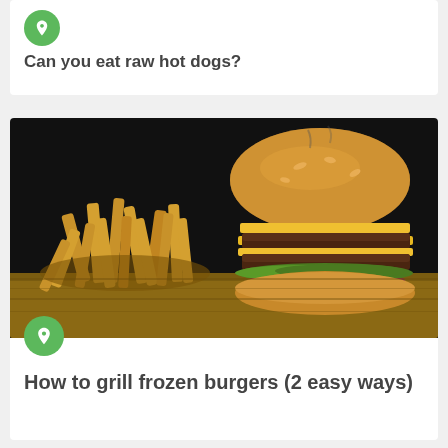Can you eat raw hot dogs?
[Figure (photo): A double cheeseburger with french fries on a wooden board against a dark background]
How to grill frozen burgers (2 easy ways)